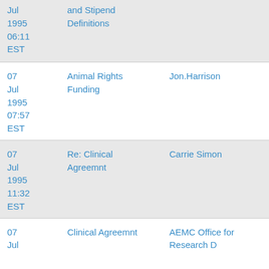| Date | Subject | Sender |
| --- | --- | --- |
| Jul 1995 06:11 EST | and Stipend Definitions |  |
| 07 Jul 1995 07:57 EST | Animal Rights Funding | Jon.Harrison |
| 07 Jul 1995 11:32 EST | Re: Clinical Agreemnt | Carrie Simon |
| 07 Jul | Clinical Agreemnt | AEMC Office for Research D |